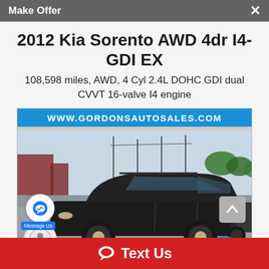Make Offer
2012 Kia Sorento AWD 4dr I4-GDI EX
108,598 miles, AWD, 4 Cyl 2.4L DOHC GDI dual CVVT 16-valve I4 engine
[Figure (photo): Photo of a black 2012 Kia Sorento SUV in a dealership parking lot, with a blue banner showing WWW.GORDONSAUTOSALES.COM at the top of the image.]
Text Us